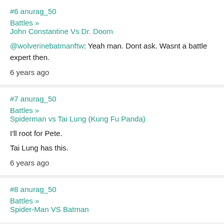#6 anurag_50
Battles » John Constantine Vs Dr. Doom
@wolverinebatmanftw: Yeah man. Dont ask. Wasnt a battle expert then.
6 years ago
#7 anurag_50
Battles » Spiderman vs Tai Lung (Kung Fu Panda)
I'll root for Pete.
Tai Lung has this.
6 years ago
#8 anurag_50
Battles » Spider-Man VS Batman